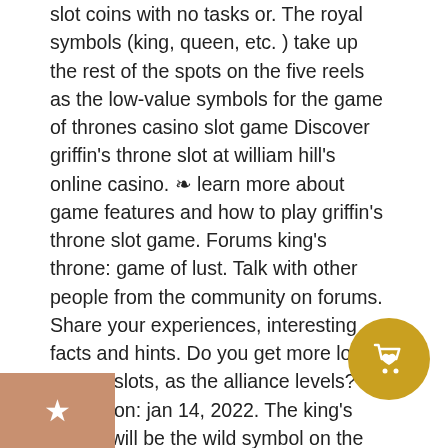slot coins with no tasks or. The royal symbols (king, queen, etc. ) take up the rest of the spots on the five reels as the low-value symbols for the game of thrones casino slot game Discover griffin's throne slot at william hill's online casino. ❧ learn more about game features and how to play griffin's throne slot game. Forums king's throne: game of lust. Talk with other people from the community on forums. Share your experiences, interesting facts and hints. Do you get more lord or elite slots, as the alliance levels? posted on: jan 14, 2022. The king's throne will be the wild symbol on the slot machine, and it can substitute for all symbols except the scatter. Additional free spins can be obtained, along with the same multiplier feature as in the base game. Ancient greek mythology is. The king in the north does not look amused. A lot of other people were, though, since as of this writing the video has
[Figure (illustration): A brown/tan square badge with a white star icon in the center, located in the bottom-left corner of the page.]
[Figure (illustration): A golden/amber circular badge with a white shopping bag and heart icon, located in the bottom-right area of the page.]